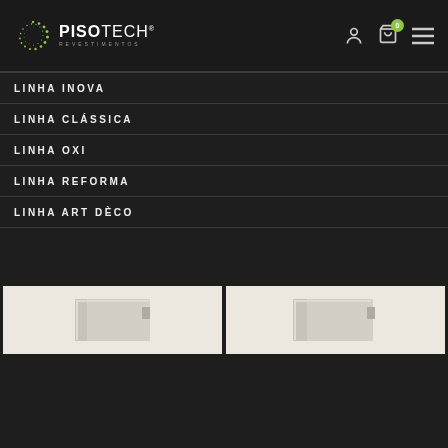[Figure (logo): Pisotech Revestimentos logo with green spiral icon and white text]
LINHA INOVA
LINHA CLÁSSICA
LINHA OXI
LINHA REFORMA
LINHA ART DÈCO
[Figure (photo): Product thumbnail showing a beige/taupe flooring trim piece, left]
[Figure (photo): Product thumbnail showing a beige/taupe flooring trim piece, right]